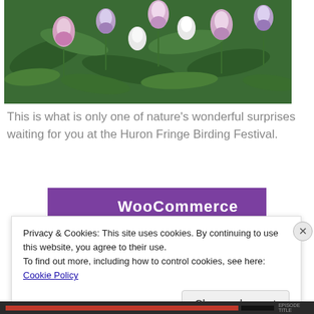[Figure (photo): Close-up photo of pink and white wildflowers (lady's slipper orchids) with green leaves against a green background]
This is what is only one of nature's wonderful surprises waiting for you at the Huron Fringe Birding Festival.
[Figure (illustration): WooCommerce advertisement banner showing 'How to start selling subscriptions online' with purple header, teal triangle, and blue arc shapes]
Privacy & Cookies: This site uses cookies. By continuing to use this website, you agree to their use.
To find out more, including how to control cookies, see here: Cookie Policy
Close and accept